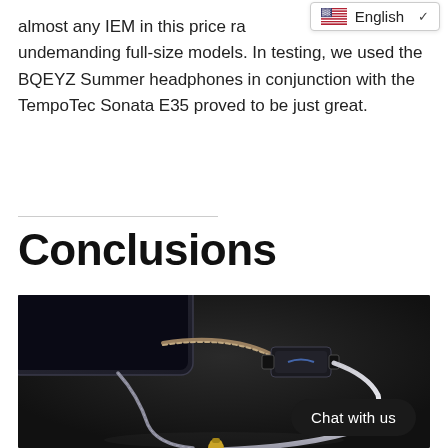almost any IEM in this price range, as well as undemanding full-size models. In testing, we used the BQEYZ Summer headphones in conjunction with the TempoTec Sonata E35 proved to be just great.
Conclusions
[Figure (photo): Photo of a TempoTec Sonata E35 USB DAC/amplifier dongle connected to a smartphone via USB cable, with a braided headphone cable attached, on a dark background. A 'Chat with us' button overlay is visible in the bottom-right corner.]